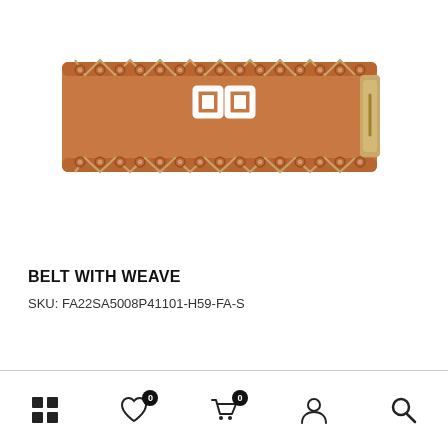[Figure (photo): A tan/cognac brown leather belt with weave/lace detail through metal eyelets along the top and bottom edges, featuring a white rectangular logo buckle (two rectangle outlines side by side) in the center, photographed against a white background. The belt appears wide and the buckle is a gold/rose-gold tone on the right side.]
BELT WITH WEAVE
SKU: FA22SA5008P41101-H59-FA-S